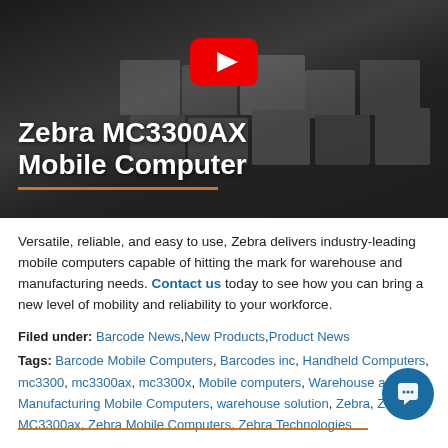[Figure (screenshot): YouTube video thumbnail showing a dark warehouse scene with boxes, white play button on red background. Title text 'Zebra MC3300AX Mobile Computer' with orange underline.]
Versatile, reliable, and easy to use, Zebra delivers industry-leading mobile computers capable of hitting the mark for warehouse and manufacturing needs. Contact us today to see how you can bring a new level of mobility and reliability to your workforce.
Filed under: Barcode News, New Products, Product News
Tags: Barcode Mobile Computers, Barcodes inc, Handheld Computers, mc3300, mc3300ax, mc3300x, Mobile computers, Warehouse and Manufacturing Mobile Computers, warehouse solution, Zebra, Zebra MC3300ax, Zebra Mobile Computers, Zebra Technologies